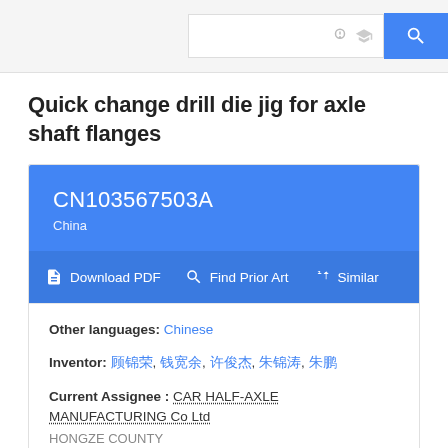Quick change drill die jig for axle shaft flanges
CN103567503A
China
Download PDF   Find Prior Art   Similar
Other languages: Chinese
Inventor: 顾锦荣, 钱宽余, 许俊杰, 朱锦涛, 朱鹏
Current Assignee : CAR HALF-AXLE MANUFACTURING Co Ltd HONGZE COUNTY
Worldwide applications